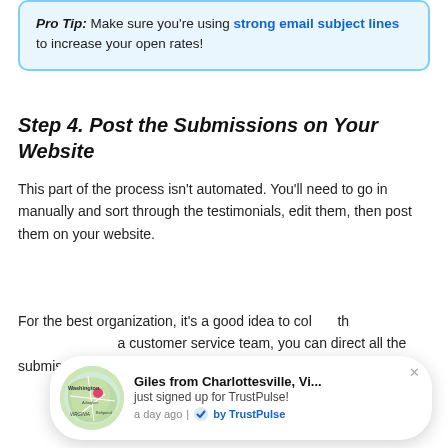Pro Tip: Make sure you're using strong email subject lines to increase your open rates!
Step 4. Post the Submissions on Your Website
This part of the process isn't automated. You'll need to go in manually and sort through the testimonials, edit them, then post them on your website.
For the best organization, it's a good idea to col... th... ve a customer service team, you can direct all the submissions to their email to respond and
[Figure (screenshot): TrustPulse notification popup showing 'Giles from Charlottesville, Vi... just signed up for TrustPulse! a day ago | by TrustPulse' with a map thumbnail of the Washington/Virginia area]